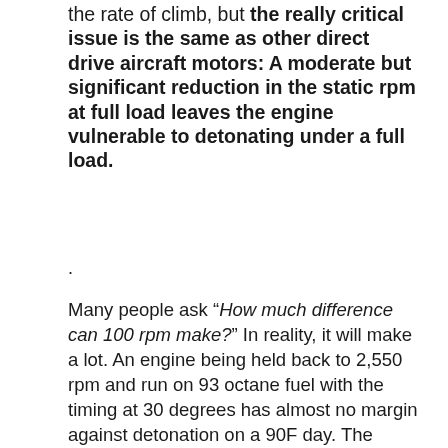the rate of climb, but the really critical issue is the same as other direct drive aircraft motors: A moderate but significant reduction in the static rpm at full load leaves the engine vulnerable to detonating under a full load.
.
Many people ask “How much difference can 100 rpm make?” In reality, it will make a lot. An engine being held back to 2,550 rpm and run on 93 octane fuel with the timing at 30 degrees has almost no margin against detonation on a 90F day. The exact same engine with a lower pitch prop with the static rpm at 2,700 will have vastly increased margin